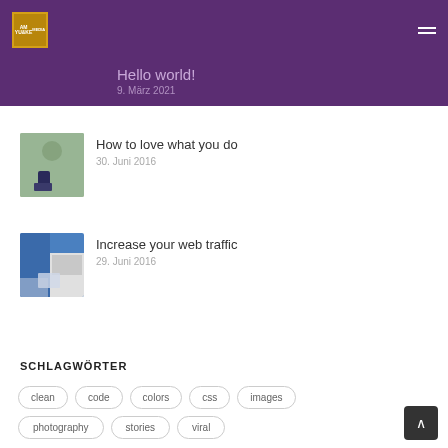Hello world!
9. März 2021
How to love what you do
30. Juni 2016
Increase your web traffic
29. Juni 2016
SCHLAGWÖRTER
clean
code
colors
css
images
photography
stories
viral